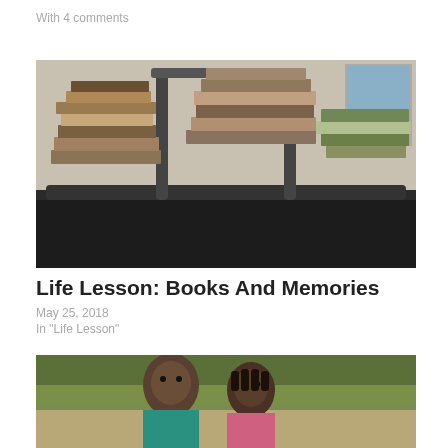With 4 comments
[Figure (photo): Piles of books stacked on and around what appears to be a treadmill or exercise equipment in a room.]
Life Lesson: Books And Memories
May 25, 2018
In "Life Lesson"
[Figure (photo): Two young children standing outdoors with green trees in the background. One child wears a teal shirt and the other a pink shirt.]